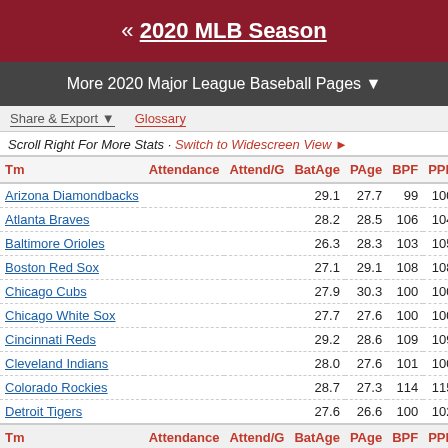« 2020 MLB Season
More 2020 Major League Baseball Pages ▼
Share & Export ▼   Glossary
Scroll Right For More Stats · Switch to Widescreen View ►
| Tm | Attendance | Attend/G | BatAge | PAge | BPF | PPF | #HOF | #A |
| --- | --- | --- | --- | --- | --- | --- | --- | --- |
| Arizona Diamondbacks |  |  | 29.1 | 27.7 | 99 | 100 | 0 |  |
| Atlanta Braves |  |  | 28.2 | 28.5 | 106 | 104 | 0 |  |
| Baltimore Orioles |  |  | 26.3 | 28.3 | 103 | 105 | 0 |  |
| Boston Red Sox |  |  | 27.1 | 29.1 | 108 | 108 | 0 |  |
| Chicago Cubs |  |  | 27.9 | 30.3 | 100 | 100 | 0 |  |
| Chicago White Sox |  |  | 27.7 | 27.6 | 100 | 100 | 0 |  |
| Cincinnati Reds |  |  | 29.2 | 28.6 | 109 | 109 | 0 |  |
| Cleveland Indians |  |  | 28.0 | 27.6 | 101 | 100 | 0 |  |
| Colorado Rockies |  |  | 28.7 | 27.3 | 114 | 115 | 0 |  |
| Detroit Tigers |  |  | 27.6 | 26.6 | 100 | 102 | 0 |  |